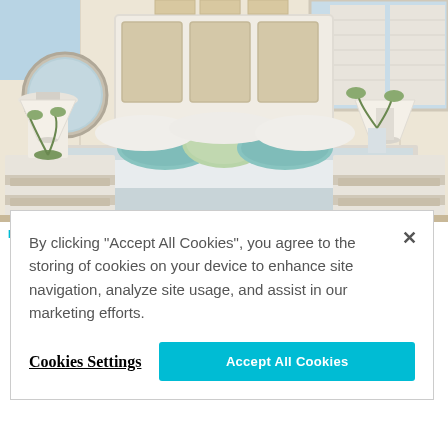[Figure (photo): Interior bedroom photo showing a neatly made bed with light blue and green decorative pillows, white headboard with rattan panels, white nightstands with lamps on both sides, a round mirror on the left wall, and bright windows.]
HAWAI'I HOME
By clicking “Accept All Cookies”, you agree to the storing of cookies on your device to enhance site navigation, analyze site usage, and assist in our marketing efforts.
Cookies Settings
Accept All Cookies